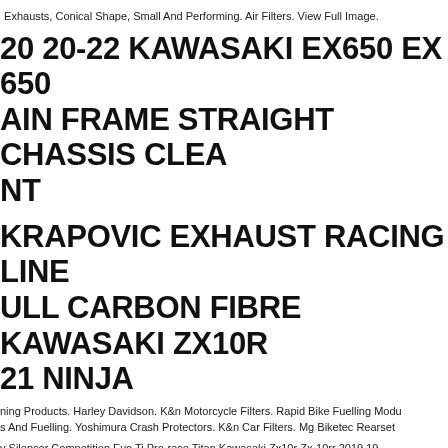: Exhausts, Conical Shape, Small And Performing. Air Filters. View Full Image.
20 20-22 KAWASAKI EX650 EX 650 AIN FRAME STRAIGHT CHASSIS CLEAN NT
KRAPOVIC EXHAUST RACING LINE ULL CARBON FIBRE KAWASAKI ZX10R 21 NINJA
ning Products. Harley Davidson. K&n Motorcycle Filters. Rapid Bike Fuelling Modu s And Fuelling. Yoshimura Crash Protectors. K&n Car Filters. Mg Biketec Reaset
y Silencer Competition Evo Ti Pro-race Titan Kawasaki Zx10r Zx-10rr 2019 19. .
e To Order Zephyr 750 Exterior Kit Airplane Fuel Cap By Doremi Japan. "doremi ction" Provides Japanese Super High Quality Custom Parts. So I Am Here For Yo ndividual Coordinator With The Direct Connection To "doremi Collection". Blue Tige